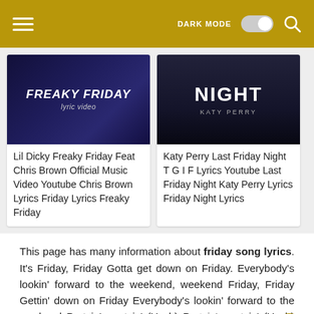DARK MODE [toggle] [search icon]
[Figure (screenshot): Thumbnail for 'Lil Dicky Freaky Friday Feat Chris Brown Official Music Video Youtube Chris Brown Lyrics Friday Lyrics Freaky Friday' - dark blue concert scene with 'FREAKY FRIDAY lyric video' text]
Lil Dicky Freaky Friday Feat Chris Brown Official Music Video Youtube Chris Brown Lyrics Friday Lyrics Freaky Friday
[Figure (screenshot): Thumbnail for 'Katy Perry Last Friday Night T G I F Lyrics Youtube Last Friday Night Katy Perry Lyrics Friday Night Lyrics' - dark background with 'NIGHT KATY PERRY' text]
Katy Perry Last Friday Night T G I F Lyrics Youtube Last Friday Night Katy Perry Lyrics Friday Night Lyrics
This page has many information about friday song lyrics. It's Friday, Friday Gotta get down on Friday. Everybody's lookin' forward to the weekend, weekend Friday, Friday Gettin' down on Friday Everybody's lookin' forward to the weekend Partyin', partyin' (Yeah) Partyin', partyin' (Yeah) Fun, fun, fun, fun Lookin' forward to the